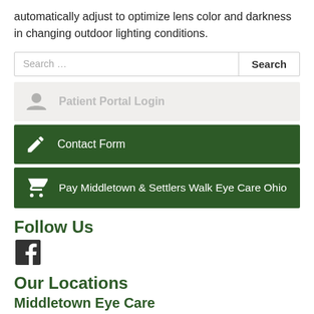automatically adjust to optimize lens color and darkness in changing outdoor lighting conditions.
Search ...
Patient Portal Login
Contact Form
Pay Middletown & Settlers Walk Eye Care Ohio
Follow Us
[Figure (illustration): Facebook logo icon]
Our Locations
Middletown Eye Care